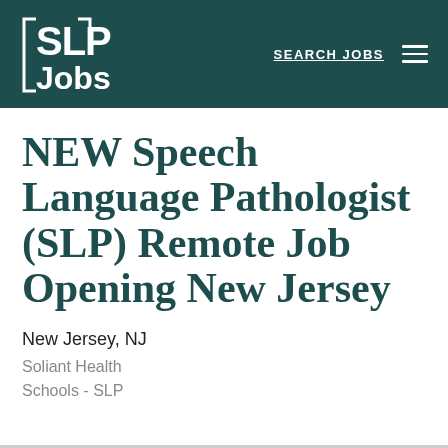SLP Jobs | SEARCH JOBS
NEW Speech Language Pathologist (SLP) Remote Job Opening New Jersey
New Jersey, NJ
Soliant Health
Schools - SLP